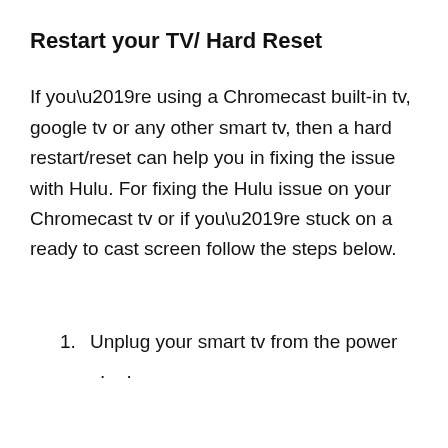Restart your TV/ Hard Reset
If you’re using a Chromecast built-in tv, google tv or any other smart tv, then a hard restart/reset can help you in fixing the issue with Hulu. For fixing the Hulu issue on your Chromecast tv or if you’re stuck on a ready to cast screen follow the steps below.
1. Unplug your smart tv from the power . .